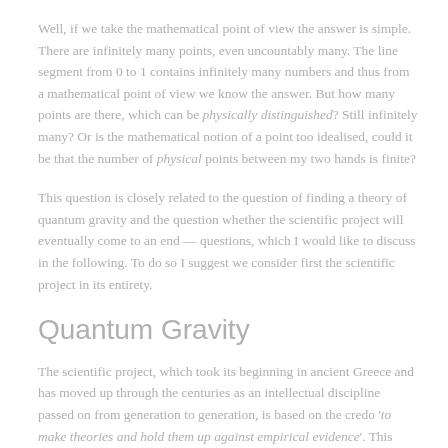Well, if we take the mathematical point of view the answer is simple. There are infinitely many points, even uncountably many. The line segment from 0 to 1 contains infinitely many numbers and thus from a mathematical point of view we know the answer. But how many points are there, which can be physically distinguished? Still infinitely many? Or is the mathematical notion of a point too idealised, could it be that the number of physical points between my two hands is finite?
This question is closely related to the question of finding a theory of quantum gravity and the question whether the scientific project will eventually come to an end — questions, which I would like to discuss in the following. To do so I suggest we consider first the scientific project in its entirety.
Quantum Gravity
The scientific project, which took its beginning in ancient Greece and has moved up through the centuries as an intellectual discipline passed on from generation to generation, is based on the credo 'to make theories and hold them up against empirical evidence'. This project has been incredible successful and has by now produced a hierarchy of physical explanations,